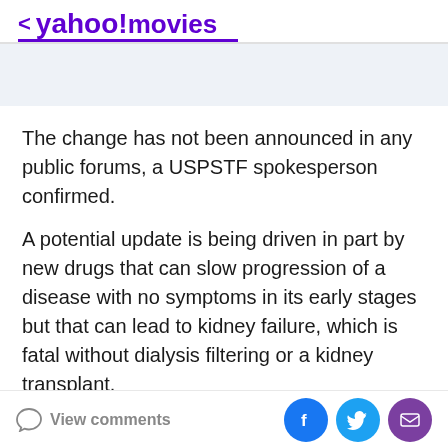< yahoo!movies
The change has not been announced in any public forums, a USPSTF spokesperson confirmed.
A potential update is being driven in part by new drugs that can slow progression of a disease with no symptoms in its early stages but that can lead to kidney failure, which is fatal without dialysis filtering or a kidney transplant.
"For a screening to help people live longer, healthier lives, clinicians must be able to treat the condition once it is found. The existence of effective treatment is
View comments